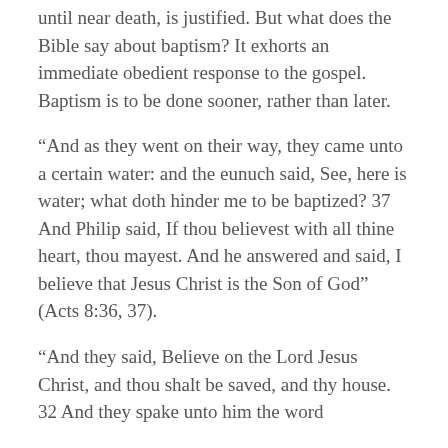until near death, is justified. But what does the Bible say about baptism? It exhorts an immediate obedient response to the gospel. Baptism is to be done sooner, rather than later.
“And as they went on their way, they came unto a certain water: and the eunuch said, See, here is water; what doth hinder me to be baptized? 37 And Philip said, If thou believest with all thine heart, thou mayest. And he answered and said, I believe that Jesus Christ is the Son of God” (Acts 8:36, 37).
“And they said, Believe on the Lord Jesus Christ, and thou shalt be saved, and thy house. 32 And they spake unto him the word